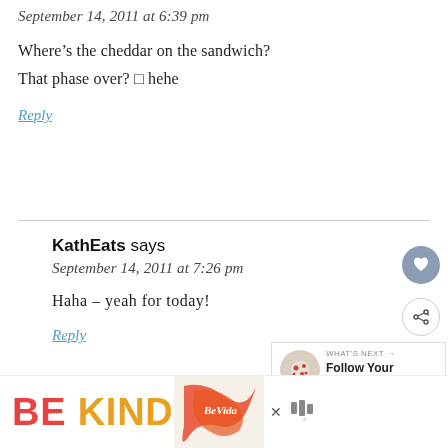September 14, 2011 at 6:39 pm
Where’s the cheddar on the sandwich?
That phase over? □ hehe
Reply
KathEats says
September 14, 2011 at 7:26 pm
Haha – yeah for today!
Reply
WHAT’S NEXT → Follow Your Cravings
[Figure (infographic): BE KIND advertisement banner with decorative red/orange text graphic and weather icon]
BE KIND